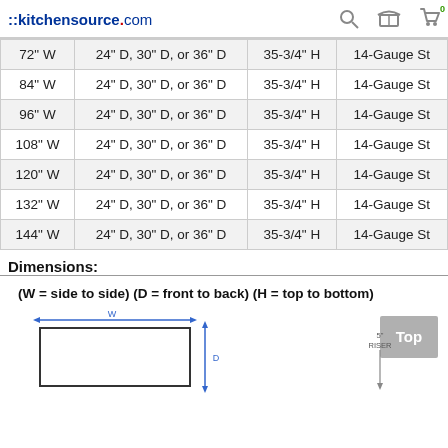::kitchensource.com
| Width | Depth | Height | Material |
| --- | --- | --- | --- |
| 72" W | 24" D, 30" D, or 36" D | 35-3/4" H | 14-Gauge St |
| 84" W | 24" D, 30" D, or 36" D | 35-3/4" H | 14-Gauge St |
| 96" W | 24" D, 30" D, or 36" D | 35-3/4" H | 14-Gauge St |
| 108" W | 24" D, 30" D, or 36" D | 35-3/4" H | 14-Gauge St |
| 120" W | 24" D, 30" D, or 36" D | 35-3/4" H | 14-Gauge St |
| 132" W | 24" D, 30" D, or 36" D | 35-3/4" H | 14-Gauge St |
| 144" W | 24" D, 30" D, or 36" D | 35-3/4" H | 14-Gauge St |
Dimensions:
(W = side to side) (D = front to back) (H = top to bottom)
[Figure (engineering-diagram): Dimension diagram showing W (width arrow across top), D (depth arrow on side), and a separate riser diagram labeled '5" RISER'. A 'Top' button is shown in the upper right.]